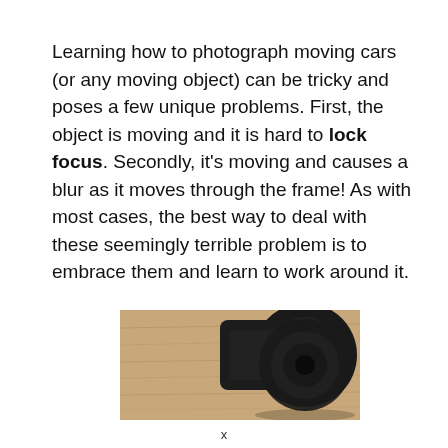Learning how to photograph moving cars (or any moving object) can be tricky and poses a few unique problems. First, the object is moving and it is hard to lock focus. Secondly, it's moving and causes a blur as it moves through the frame! As with most cases, the best way to deal with these seemingly terrible problem is to embrace them and learn to work around it.
[Figure (photo): A black camera lens/body placed on a wooden surface, viewed from above at an angle, dark background tones on right side.]
x